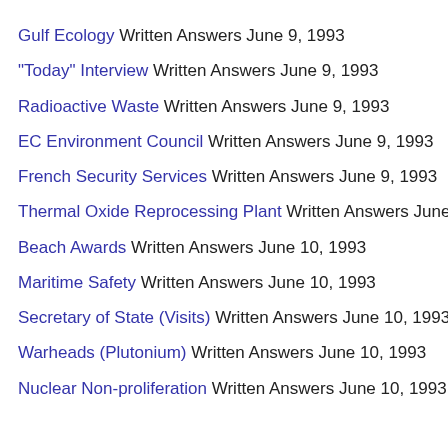Gulf Ecology Written Answers June 9, 1993
"Today" Interview Written Answers June 9, 1993
Radioactive Waste Written Answers June 9, 1993
EC Environment Council Written Answers June 9, 1993
French Security Services Written Answers June 9, 1993
Thermal Oxide Reprocessing Plant Written Answers June 10,
Beach Awards Written Answers June 10, 1993
Maritime Safety Written Answers June 10, 1993
Secretary of State (Visits) Written Answers June 10, 1993
Warheads (Plutonium) Written Answers June 10, 1993
Nuclear Non-proliferation Written Answers June 10, 1993